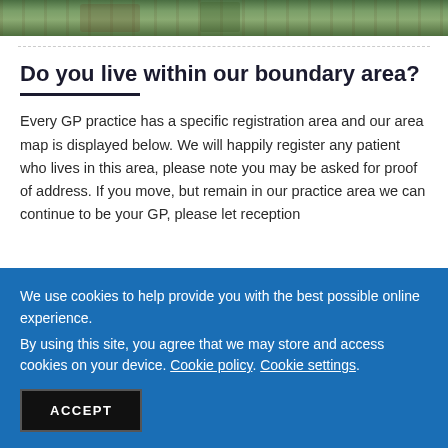[Figure (photo): Photograph strip showing garden/outdoor scene with rocks, plants and greenery]
Do you live within our boundary area?
Every GP practice has a specific registration area and our area map is displayed below. We will happily register any patient who lives in this area, please note you may be asked for proof of address. If you move, but remain in our practice area we can continue to be your GP, please let reception
We use cookies to help provide you with the best possible online experience.
By using this site, you agree that we may store and access cookies on your device. Cookie policy. Cookie settings.
ACCEPT